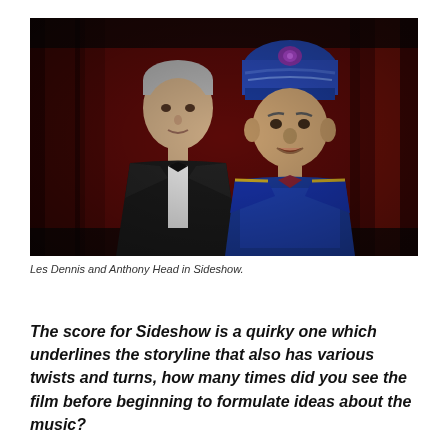[Figure (photo): Two men standing in front of red curtains. The man on the left wears a black tuxedo, the man on the right wears a blue bejeweled costume with an ornate turban.]
Les Dennis and Anthony Head in Sideshow.
The score for Sideshow is a quirky one which underlines the storyline that also has various twists and turns, how many times did you see the film before beginning to formulate ideas about the music?